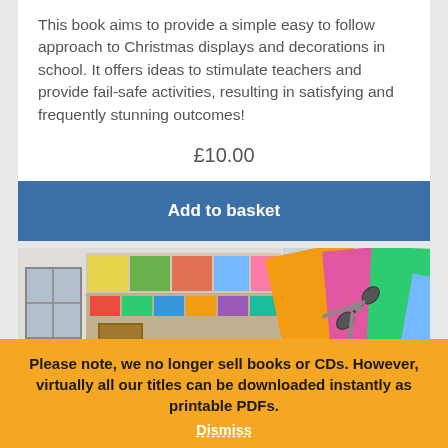This book aims to provide a simple easy to follow approach to Christmas displays and decorations in school. It offers ideas to stimulate teachers and provide fail-safe activities, resulting in satisfying and frequently stunning outcomes!
£10.00
Add to basket
[Figure (photo): A composite image showing a colorful classroom display on the left and colorful craft paper sheets with scissors on the right.]
Please note, we no longer sell books or CDs. However, virtually all our titles can be downloaded instantly as printable PDFs.
Dismiss